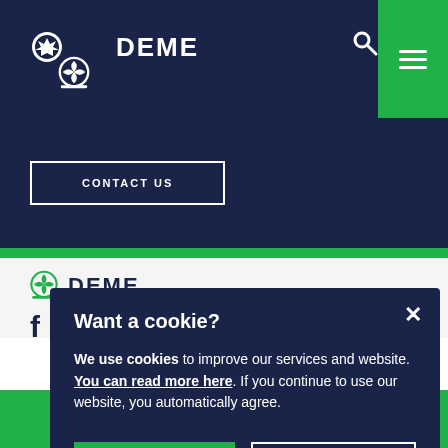DEME — navigation header with logo, search icon, and hamburger menu button
CONTACT US
[Figure (screenshot): DEME website screenshot showing navy header bar with DEME logo, search icon, green hamburger menu button, a CONTACT US button outlined in white, green divider bar, and partial DEME logo and page content below.]
Want a cookie?
We use cookies to improve our services and website. You can read more here. If you continue to use our website, you automatically agree.
SURE, GREAT
NO, THANKS